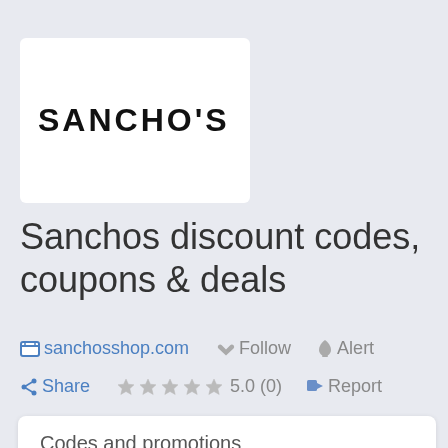[Figure (logo): Sancho's brand logo: white rectangle with text SANCHO'S in bold black capital letters]
Sanchos discount codes, coupons & deals
sanchosshop.com   Follow   Alert   Share   ★★★★★ 5.0 (0)   Report
| Image | Type | H Title | Comments | Coun |
| --- | --- | --- | --- | --- |